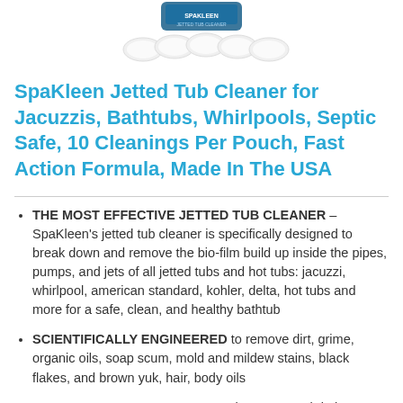[Figure (photo): Product image of SpaKleen Jetted Tub Cleaner pouches, white tablet pouches with a dark blue branded package in the background]
SpaKleen Jetted Tub Cleaner for Jacuzzis, Bathtubs, Whirlpools, Septic Safe, 10 Cleanings Per Pouch, Fast Action Formula, Made In The USA
THE MOST EFFECTIVE JETTED TUB CLEANER – SpaKleen's jetted tub cleaner is specifically designed to break down and remove the bio-film build up inside the pipes, pumps, and jets of all jetted tubs and hot tubs: jacuzzi, whirlpool, american standard, kohler, delta, hot tubs and more for a safe, clean, and healthy bathtub
SCIENTIFICALLY ENGINEERED to remove dirt, grime, organic oils, soap scum, mold and mildew stains, black flakes, and brown yuk, hair, body oils
15 MINUTES PER CLEANING – Cleans your tub in just 15 minutes: just run your water, drop in our cleaner, and run your jets
LABORATORY AND FIELD TESTED TO PRODUCE